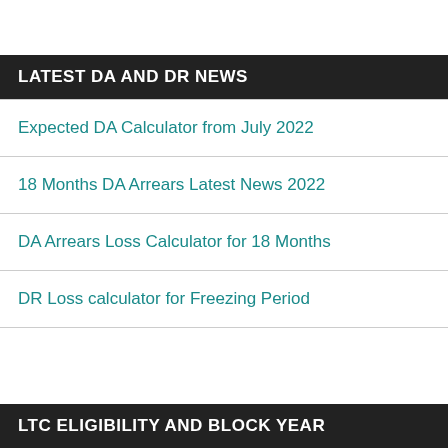LATEST DA AND DR NEWS
Expected DA Calculator from July 2022
18 Months DA Arrears Latest News 2022
DA Arrears Loss Calculator for 18 Months
DR Loss calculator for Freezing Period
LTC ELIGIBILITY AND BLOCK YEAR